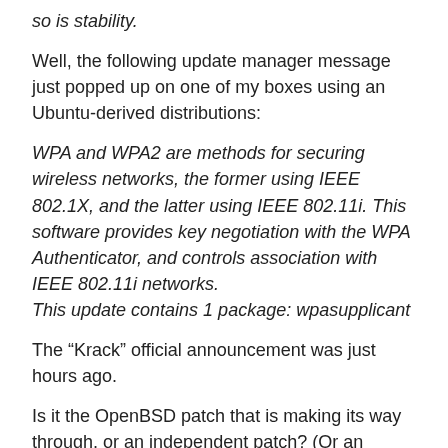so is stability.
Well, the following update manager message just popped up on one of my boxes using an Ubuntu-derived distributions:
WPA and WPA2 are methods for securing wireless networks, the former using IEEE 802.1X, and the latter using IEEE 802.11i. This software provides key negotiation with the WPA Authenticator, and controls association with IEEE 802.11i networks.
This update contains 1 package: wpasupplicant
The “Krack” official announcement was just hours ago.
Is it the OpenBSD patch that is making its way through, or an independent patch? (Or an altogether unrelated update?) The *nix environment update bowel motions are not entirely clear to me.
Jeff • October 16, 2017 2:35 PM
I would like clarification. If the device I’m using now (an iPad) is patched but the access points I use around my city are